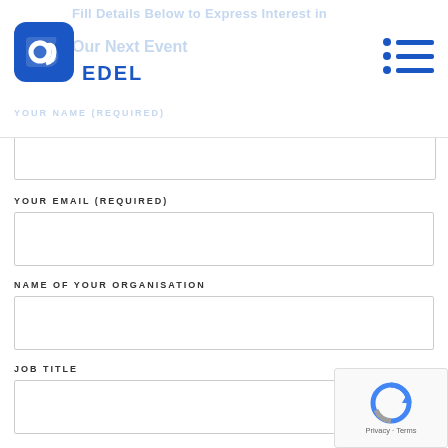EDEL
Fill Details below to Express Interest in Our Next Event
YOUR NAME (REQUIRED)
YOUR EMAIL (REQUIRED)
NAME OF YOUR ORGANISATION
JOB TITLE
PHONE NUMBER